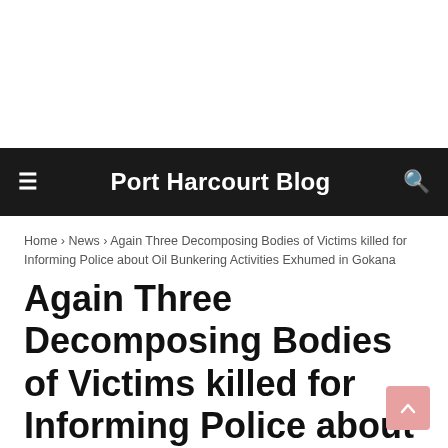Port Harcourt Blog
Home › News › Again Three Decomposing Bodies of Victims killed for Informing Police about Oil Bunkering Activities Exhumed in Gokana
Again Three Decomposing Bodies of Victims killed for Informing Police about Oil Bunkering Activities Exhumed in Gokana